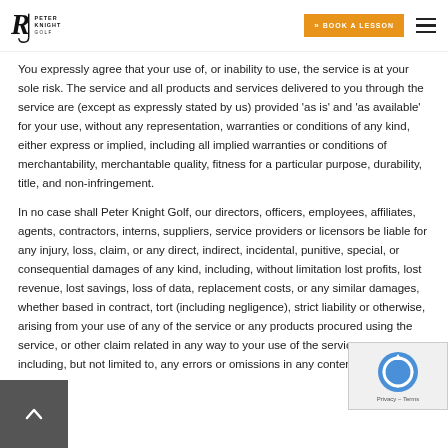Peter Knight Golf – Book a Lesson
You expressly agree that your use of, or inability to use, the service is at your sole risk. The service and all products and services delivered to you through the service are (except as expressly stated by us) provided 'as is' and 'as available' for your use, without any representation, warranties or conditions of any kind, either express or implied, including all implied warranties or conditions of merchantability, merchantable quality, fitness for a particular purpose, durability, title, and non-infringement.
In no case shall Peter Knight Golf, our directors, officers, employees, affiliates, agents, contractors, interns, suppliers, service providers or licensors be liable for any injury, loss, claim, or any direct, indirect, incidental, punitive, special, or consequential damages of any kind, including, without limitation lost profits, lost revenue, lost savings, loss of data, replacement costs, or any similar damages, whether based in contract, tort (including negligence), strict liability or otherwise, arising from your use of any of the service or any products procured using the service, or other claim related in any way to your use of the service or any pro... including, but not limited to, any errors or omissions in any content, or any